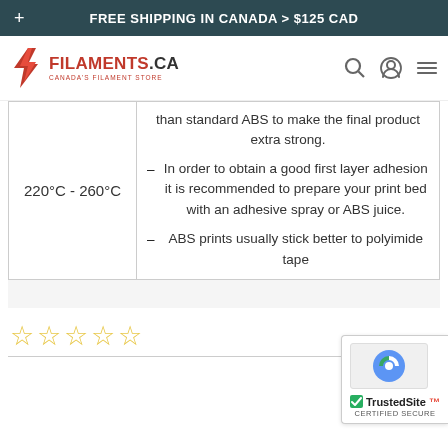FREE SHIPPING IN CANADA > $125 CAD
[Figure (logo): Filaments.ca logo with red lightning bolt icon and text FILAMENTS.CA CANADA'S FILAMENT STORE]
| 220°C - 260°C | than standard ABS to make the final product extra strong.
– In order to obtain a good first layer adhesion it is recommended to prepare your print bed with an adhesive spray or ABS juice.
– ABS prints usually stick better to polyimide tape |
[Figure (other): Five empty star rating icons (☆☆☆☆☆)]
[Figure (other): TrustedSite CERTIFIED SECURE badge with reCAPTCHA icon]